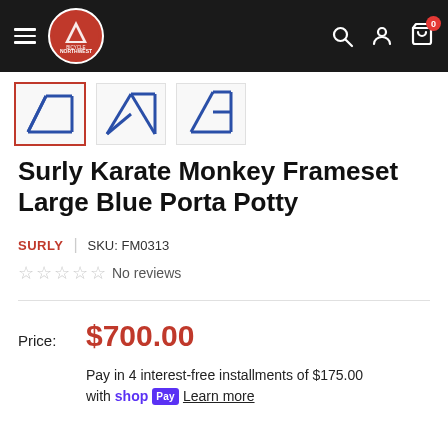Northwest Bicycle — navigation bar with hamburger menu, logo, search, account, and cart (0 items)
[Figure (photo): Product thumbnail strip showing three views of a blue bike frameset. The first thumbnail has a red border (selected). Other thumbnails show different angles of the blue Surly Karate Monkey frameset.]
Surly Karate Monkey Frameset Large Blue Porta Potty
SURLY  |  SKU: FM0313
☆☆☆☆☆  No reviews
Price:  $700.00
Pay in 4 interest-free installments of $175.00 with Shop Pay  Learn more